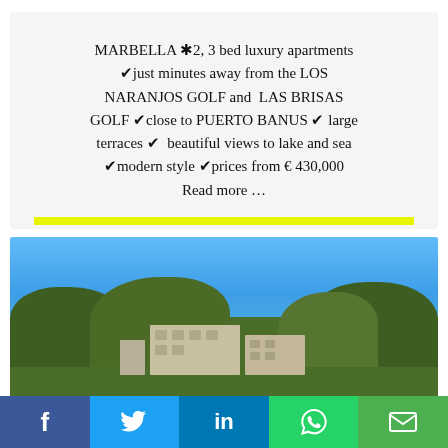MARBELLA ✳2, 3 bed luxury apartments ✔ just minutes away from the LOS NARANJOS GOLF and LAS BRISAS GOLF ✔ close to PUERTO BANUS ✔ large terraces ✔ beautiful views to lake and sea ✔ modern style ✔ prices from € 430,000 Read more …
[Figure (photo): Exterior view of luxury apartment buildings surrounded by trees with blue sky background, Marbella golf resort area]